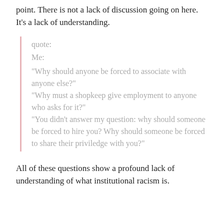point. There is not a lack of discussion going on here. It's a lack of understanding.
quote:
Me:
"Why should anyone be forced to associate with anyone else?"
"Why must a shopkeep give employment to anyone who asks for it?"
"You didn't answer my question: why should someone be forced to hire you? Why should someone be forced to share their priviledge with you?"
All of these questions show a profound lack of understanding of what institutional racism is.